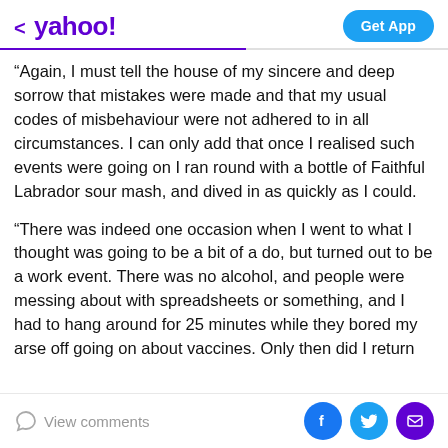< yahoo!   Get App
“Again, I must tell the house of my sincere and deep sorrow that mistakes were made and that my usual codes of misbehaviour were not adhered to in all circumstances. I can only add that once I realised such events were going on I ran round with a bottle of Faithful Labrador sour mash, and dived in as quickly as I could.
“There was indeed one occasion when I went to what I thought was going to be a bit of a do, but turned out to be a work event. There was no alcohol, and people were messing about with spreadsheets or something, and I had to hang around for 25 minutes while they bored my arse off going on about vaccines. Only then did I return
View comments